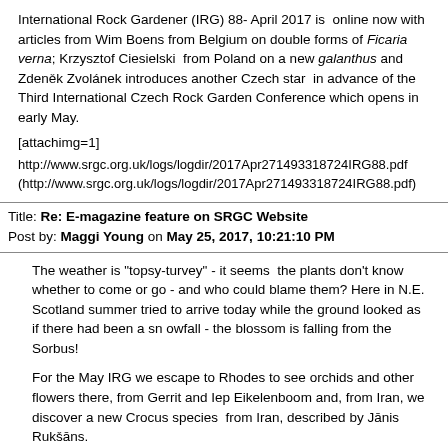International Rock Gardener (IRG) 88- April 2017 is online now with articles from Wim Boens from Belgium on double forms of Ficaria verna; Krzysztof Ciesielski  from Poland on a new galanthus and Zdeněk Zvolánek introduces another Czech star  in advance of the Third International Czech Rock Garden Conference which opens in early May.
[attachimg=1]
http://www.srgc.org.uk/logs/logdir/2017Apr271493318724IRG88.pdf (http://www.srgc.org.uk/logs/logdir/2017Apr271493318724IRG88.pdf)
Title: Re: E-magazine feature on SRGC Website
Post by: Maggi Young on May 25, 2017, 10:21:10 PM
The weather is "topsy-turvey" - it seems  the plants don't know whether to come or go - and who could blame them? Here in N.E. Scotland summer tried to arrive today while the ground looked as if there had been a sn owfall - the blossom is falling from the Sorbus!
For the May IRG we escape to Rhodes to see orchids and other flowers there, from Gerrit and Iep Eikelenboom and, from Iran, we discover a new Crocus species  from Iran, described by Jānis Rukšāns.
http://www.srgc.org.uk/logs/logdir/2017May251495746846IRG89May20... (http://www.srgc.org.uk/logs/logdir/2017May251495746846IRG89May20...